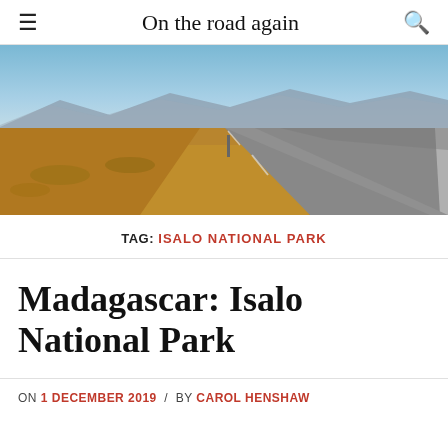On the road again
[Figure (photo): A straight road extending to the horizon through dry scrubland with mountains in the background under a blue sky — Madagascar landscape.]
TAG: ISALO NATIONAL PARK
Madagascar: Isalo National Park
ON 1 DECEMBER 2019 / BY CAROL HENSHAW